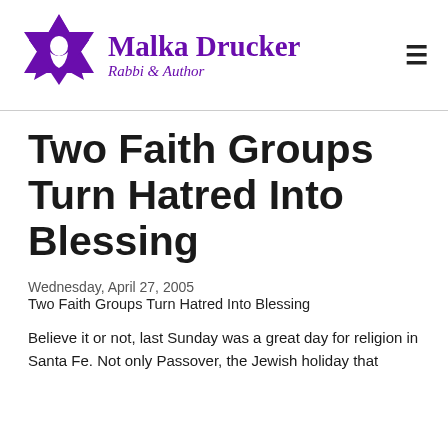[Figure (logo): Malka Drucker Rabbi & Author logo with purple Star of David and text]
Two Faith Groups Turn Hatred Into Blessing
Wednesday, April 27, 2005
Two Faith Groups Turn Hatred Into Blessing
Believe it or not, last Sunday was a great day for religion in Santa Fe. Not only Passover, the Jewish holiday that